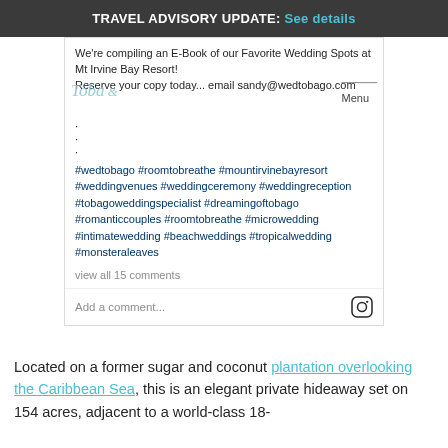TRAVEL ADVISORY UPDATE: See details
We're compiling an E-Book of our Favorite Wedding Spots at Mt Irvine Bay Resort!
Reserve your copy today... email sandy@wedtobago.com
#wedtobago #roomtobreathe #mountirvinebayresort #weddingvenues #weddingceremony #weddingreception #tobagoweddingspecialist #dreamingoftobago #romanticcouples #roomtobreathe #microwedding #intimatewedding #beachweddings #tropicalwedding #monsteraleaves
view all 15 comments
Add a comment...
Located on a former sugar and coconut plantation overlooking the Caribbean Sea, this is an elegant private hideaway set on 154 acres, adjacent to a world-class 18-